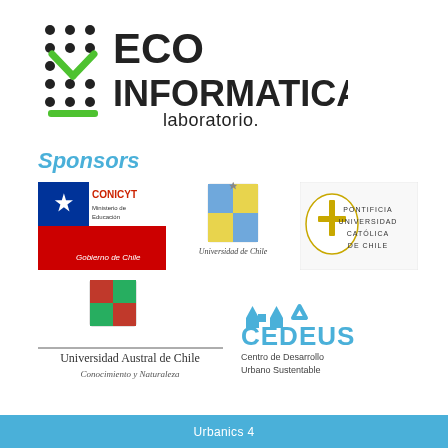[Figure (logo): ECO INFORMATICA laboratorio logo with green/black dot pattern and checkmark design]
Sponsors
[Figure (logo): CONICYT Ministerio de Educación - Gobierno de Chile logo with Chilean flag]
[Figure (logo): Universidad de Chile coat of arms and text logo]
[Figure (logo): Pontificia Universidad Católica de Chile logo]
[Figure (logo): Universidad Austral de Chile - Conocimiento y Naturaleza logo]
[Figure (logo): CEDEUS - Centro de Desarrollo Urbano Sustentable logo]
Urbanics 4